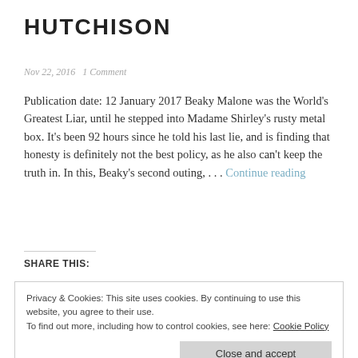HUTCHISON
Nov 22, 2016   1 Comment
Publication date: 12 January 2017 Beaky Malone was the World's Greatest Liar, until he stepped into Madame Shirley's rusty metal box. It's been 92 hours since he told his last lie, and is finding that honesty is definitely not the best policy, as he also can't keep the truth in. In this, Beaky's second outing, . . . Continue reading
SHARE THIS:
Privacy & Cookies: This site uses cookies. By continuing to use this website, you agree to their use.
To find out more, including how to control cookies, see here: Cookie Policy